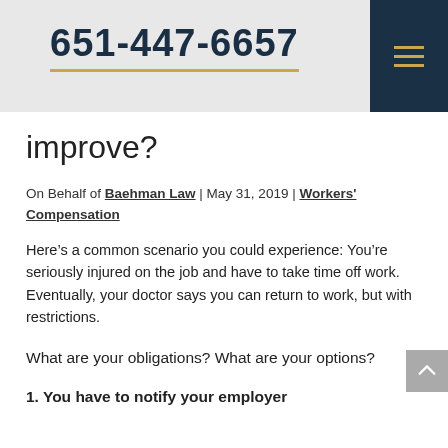651-447-6657
improve?
On Behalf of Baehman Law | May 31, 2019 | Workers' Compensation
Here’s a common scenario you could experience: You’re seriously injured on the job and have to take time off work. Eventually, your doctor says you can return to work, but with restrictions.
What are your obligations? What are your options?
1. You have to notify your employer